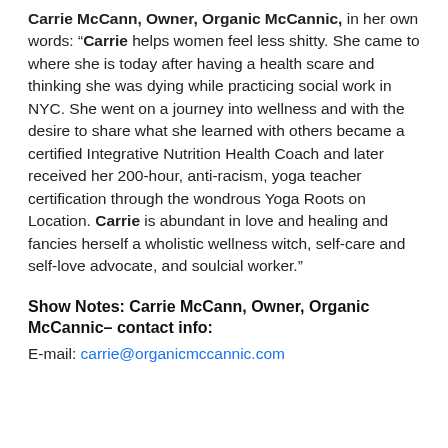Carrie McCann, Owner, Organic McCannic, in her own words: "Carrie helps women feel less shitty. She came to where she is today after having a health scare and thinking she was dying while practicing social work in NYC. She went on a journey into wellness and with the desire to share what she learned with others became a certified Integrative Nutrition Health Coach and later received her 200-hour, anti-racism, yoga teacher certification through the wondrous Yoga Roots on Location. Carrie is abundant in love and healing and fancies herself a wholistic wellness witch, self-care and self-love advocate, and soulcial worker."
Show Notes: Carrie McCann, Owner, Organic McCannic– contact info:
E-mail: carrie@organicmccannic.com